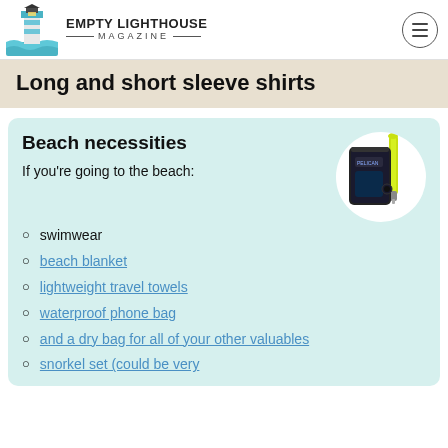EMPTY LIGHTHOUSE MAGAZINE
Long and short sleeve shirts
Beach necessities
If you're going to the beach:
[Figure (photo): A waterproof phone bag/case in black with a yellow-green lanyard strap, shown against a white circular background.]
swimwear
beach blanket
lightweight travel towels
waterproof phone bag
and a dry bag for all of your other valuables
snorkel set (could be very